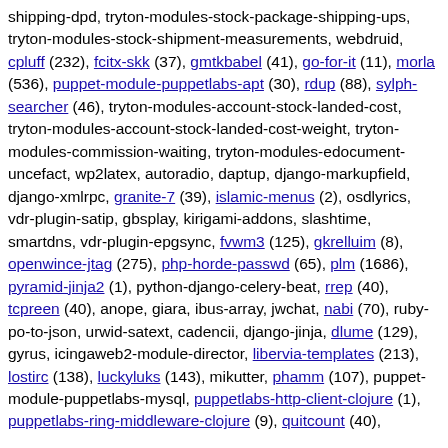shipping-dpd, tryton-modules-stock-package-shipping-ups, tryton-modules-stock-shipment-measurements, webdruid, cpluff (232), fcitx-skk (37), gmtkbabel (41), go-for-it (11), morla (536), puppet-module-puppetlabs-apt (30), rdup (88), sylph-searcher (46), tryton-modules-account-stock-landed-cost, tryton-modules-account-stock-landed-cost-weight, tryton-modules-commission-waiting, tryton-modules-edocument-uncefact, wp2latex, autoradio, daptup, django-markupfield, django-xmlrpc, granite-7 (39), islamic-menus (2), osdlyrics, vdr-plugin-satip, gbsplay, kirigami-addons, slashtime, smartdns, vdr-plugin-epgsync, fvwm3 (125), gkrelluim (8), openwince-jtag (275), php-horde-passwd (65), plm (1686), pyramid-jinja2 (1), python-django-celery-beat, rrep (40), tcpreen (40), anope, giara, ibus-array, jwchat, nabi (70), ruby-po-to-json, urwid-satext, cadencii, django-jinja, dlume (129), gyrus, icingaweb2-module-director, libervia-templates (213), lostirc (138), luckyluks (143), mikutter, phamm (107), puppet-module-puppetlabs-mysql, puppetlabs-http-client-clojure (1), puppetlabs-ring-middleware-clojure (9), quitcount (40),